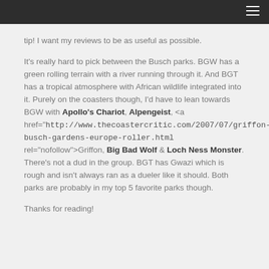≡
tip! I want my reviews to be as useful as possible.
It's really hard to pick between the Busch parks. BGW has a green rolling terrain with a river running through it. And BGT has a tropical atmosphere with African wildlife integrated into it. Purely on the coasters though, I'd have to lean towards BGW with Apollo's Chariot, Alpengeist, <a href="http://www.thecoastercritic.com/2007/07/griffon-busch-gardens-europe-roller.html rel="nofollow">Griffon, Big Bad Wolf & Loch Ness Monster. There's not a dud in the group. BGT has Gwazi which is rough and isn't always ran as a dueler like it should. Both parks are probably in my top 5 favorite parks though.
Thanks for reading!